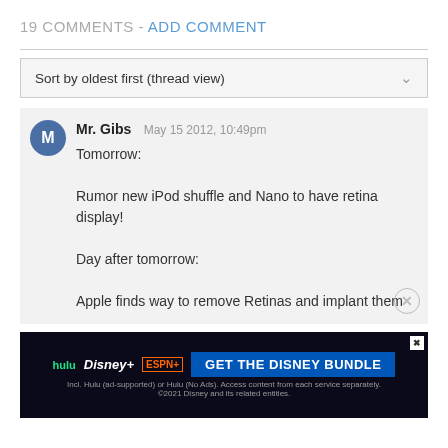19 COMMENTS - ADD COMMENT
Sort by oldest first (thread view)
Mr. Gibs  May 15 2012, 10:49pm

Tomorrow:

Rumor new iPod shuffle and Nano to have retina display!

Day after tomorrow:

Apple finds way to remove Retinas and implant them
[Figure (screenshot): Disney Bundle advertisement banner with Hulu, Disney+, ESPN+ logos and GET THE DISNEY BUNDLE call to action]